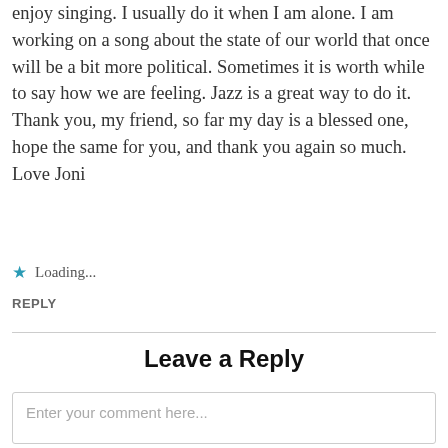enjoy singing. I usually do it when I am alone. I am working on a song about the state of our world that once will be a bit more political. Sometimes it is worth while to say how we are feeling. Jazz is a great way to do it. Thank you, my friend, so far my day is a blessed one, hope the same for you, and thank you again so much. Love Joni
★ Loading...
REPLY
Leave a Reply
Enter your comment here...